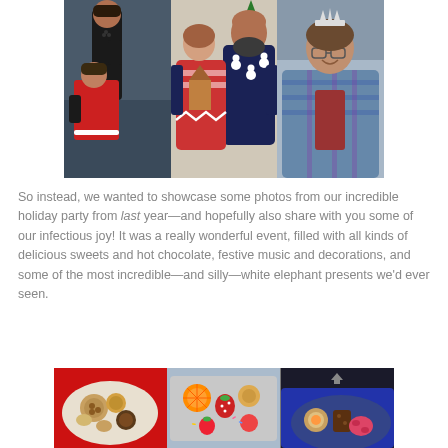[Figure (photo): Three holiday party photos side by side: left shows two women in festive red outfits posing together; center shows a bearded man and a woman in ugly Christmas sweaters; right shows a woman with a tiara smiling at the camera.]
So instead, we wanted to showcase some photos from our incredible holiday party from last year—and hopefully also share with you some of our infectious joy! It was a really wonderful event, filled with all kinds of delicious sweets and hot chocolate, festive music and decorations, and some of the most incredible—and silly—white elephant presents we'd ever seen.
[Figure (photo): Three photos of holiday party food: left shows a plate of assorted cookies and pastries; center shows a tray of decorated fruit and treats; right shows a partially visible plate of holiday sweets.]